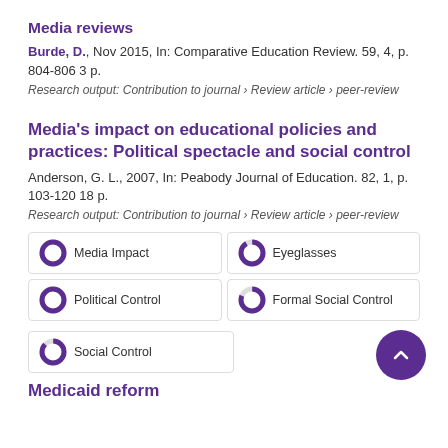Media reviews
Burde, D., Nov 2015, In: Comparative Education Review. 59, 4, p. 804-806 3 p.
Research output: Contribution to journal › Review article › peer-review
Media's impact on educational policies and practices: Political spectacle and social control
Anderson, G. L., 2007, In: Peabody Journal of Education. 82, 1, p. 103-120 18 p.
Research output: Contribution to journal › Review article › peer-review
Media Impact
Eyeglasses
Political Control
Formal Social Control
Social Control
Medicaid reform